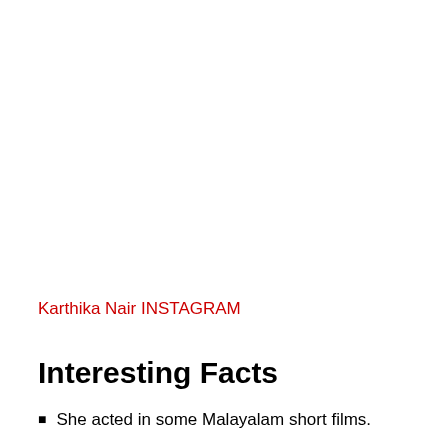Karthika Nair INSTAGRAM
Interesting Facts
She acted in some Malayalam short films.